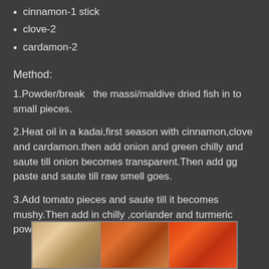cinnamon-1 stick
clove-2
cardamon-2
Method:
1.Powder/break  the massi/maldive dried fish in to small pieces.
2.Heat oil in a kadai,first season with cinnamon,clove and cardamon.then add onion and green chilly and saute till onion becomes transparent.Then add gg paste and saute till raw smell goes.
3.Add tomato pieces and saute till it becomes mushy.Then add in chilly ,coriander and turmeric powders and saute.
[Figure (photo): Three food photos showing prepared dish]